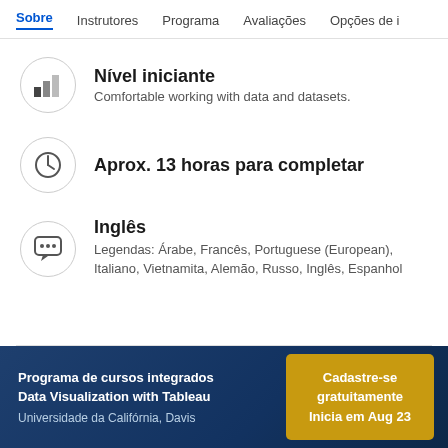Sobre  Instrutores  Programa  Avaliações  Opções de i
Nível iniciante — Comfortable working with data and datasets.
Aprox. 13 horas para completar
Inglês — Legendas: Árabe, Francês, Portuguese (European), Italiano, Vietnamita, Alemão, Russo, Inglês, Espanhol
Programa de cursos integrados Data Visualization with Tableau — Universidade da Califórnia, Davis — Cadastre-se gratuitamente — Inicia em Aug 23